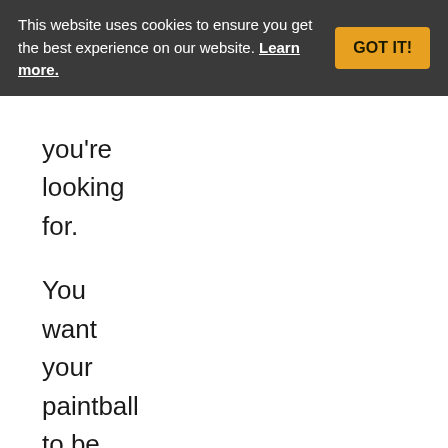This website uses cookies to ensure you get the best experience on our website. Learn more. GOT IT!
you're looking for.

You want your paintball to be carefully constructed with a very durable shell